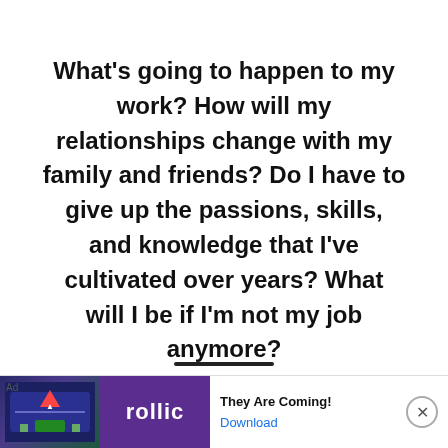What's going to happen to my work? How will my relationships change with my family and friends? Do I have to give up the passions, skills, and knowledge that I've cultivated over years? What will I be if I'm not my job anymore?
All of those are serious questions – and as
[Figure (other): Advertisement banner at bottom of page showing 'They Are Coming!' mobile game ad with Follic branding and Download button, with close (X) button]